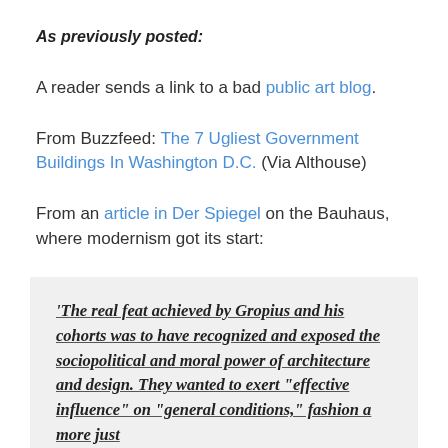As previously posted:
A reader sends a link to a bad public art blog.
From Buzzfeed: The 7 Ugliest Government Buildings In Washington D.C. (Via Althouse)
From an article in Der Spiegel on the Bauhaus, where modernism got its start:
'The real feat achieved by Gropius and his cohorts was to have recognized and exposed the sociopolitical and moral power of architecture and design. They wanted to exert "effective influence" on "general conditions," fashion a more just